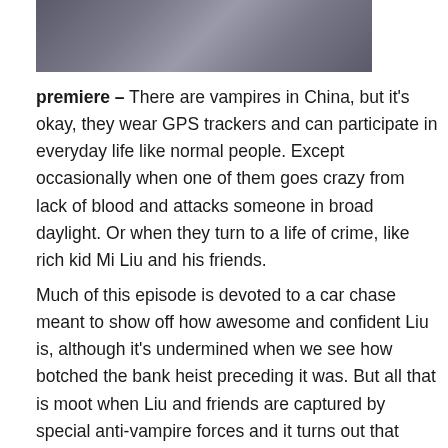[Figure (illustration): Cropped anime-style illustration showing characters in dark uniforms, partially visible at the top of the page.]
premiere – There are vampires in China, but it's okay, they wear GPS trackers and can participate in everyday life like normal people. Except occasionally when one of them goes crazy from lack of blood and attacks someone in broad daylight. Or when they turn to a life of crime, like rich kid Mi Liu and his friends.
Much of this episode is devoted to a car chase meant to show off how awesome and confident Liu is, although it's undermined when we see how botched the bank heist preceding it was. But all that is moot when Liu and friends are captured by special anti-vampire forces and it turns out that someone wants to pin a much more serious crime on them. Things get better as the story turns serious and